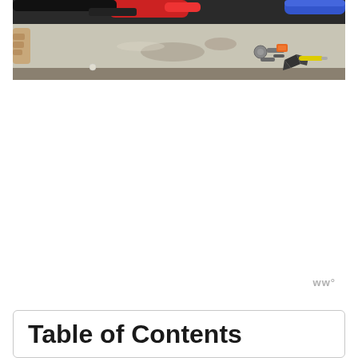[Figure (photo): Photo of a workbench or table surface with tools including what appears to be a blowtorch or heat gun (red), a blue cylindrical object, keys on a ring, and a person's hands visible at the left edge. The table surface appears worn and stained.]
ww°
Table of Contents